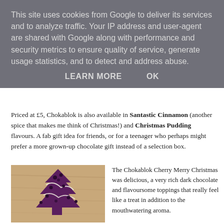This site uses cookies from Google to deliver its services and to analyze traffic. Your IP address and user-agent are shared with Google along with performance and security metrics to ensure quality of service, generate usage statistics, and to detect and address abuse.
LEARN MORE   OK
Priced at £5, Chokablok is also available in Santastic Cinnamon (another spice that makes me think of Christmas!) and Christmas Pudding flavours. A fab gift idea for friends, or for a teenager who perhaps might prefer a more grown-up chocolate gift instead of a selection box.
[Figure (photo): A dark purple chocolate bar shaped like a Christmas tree with berry toppings and drizzled white chocolate, lying on a wooden surface.]
The Chokablok Cherry Merry Christmas was delicious, a very rich dark chocolate and flavoursome toppings that really feel like a treat in addition to the mouthwatering aroma.